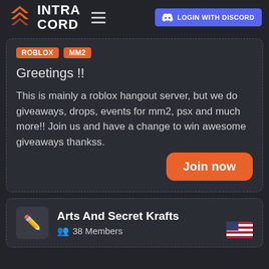INTRA CORD — LOGIN WITH DISCORD
ROBLOX  MM2
Greetings !!
This is mainly a roblox hangout server, but we do giveaways, drops, events for mm2, psx and much more!! Join us and have a change to win awesome giveaways thankss.
Join now
Arts And Secret Krafts
38 Members